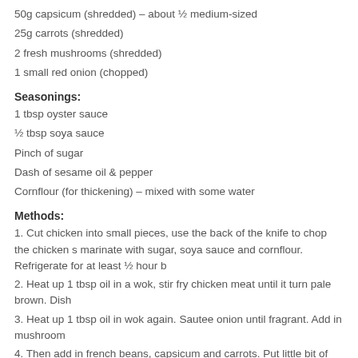50g capsicum (shredded) – about ½ medium-sized
25g carrots (shredded)
2 fresh mushrooms (shredded)
1 small red onion (chopped)
Seasonings:
1 tbsp oyster sauce
½ tbsp soya sauce
Pinch of sugar
Dash of sesame oil & pepper
Cornflour (for thickening) – mixed with some water
Methods:
1. Cut chicken into small pieces, use the back of the knife to chop the chicken s marinate with sugar, soya sauce and cornflour. Refrigerate for at least ½ hour b
2. Heat up 1 tbsp oil in a wok, stir fry chicken meat until it turn pale brown. Dish
3. Heat up 1 tbsp oil in wok again. Sautee onion until fragrant. Add in mushroom
4. Then add in french beans, capsicum and carrots. Put little bit of water and sti
5. Lower down the heat to medium, add in chicken and stir well.
6. Then add in cornflour solution, stir fry for a while and turn off the heat. Dish u
If you like this article, please share: